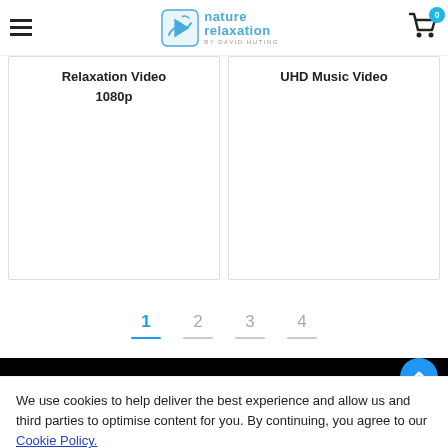Nature Relaxation by David Huting — navigation header with hamburger menu and cart (0 items)
Relaxation Video 1080p
UHD Music Video
Pagination: 1 (active), 2, 3, 4
ABOUT
We use cookies to help deliver the best experience and allow us and third parties to optimise content for you. By continuing, you agree to our Cookie Policy.
Decline   Allow Cookies
MY ACCOUNT